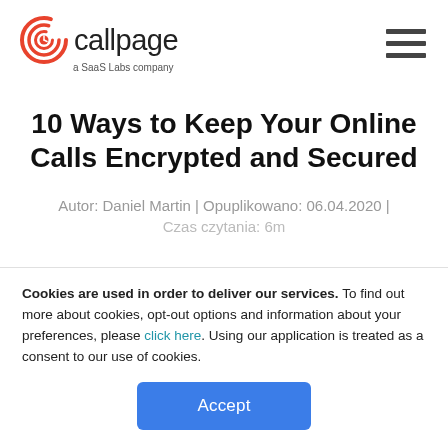callpage — a SaaS Labs company
10 Ways to Keep Your Online Calls Encrypted and Secured
Autor: Daniel Martin | Opuplikowano: 06.04.2020 |
Czas czytania: 6m
Cookies are used in order to deliver our services. To find out more about cookies, opt-out options and information about your preferences, please click here. Using our application is treated as a consent to our use of cookies.
Accept